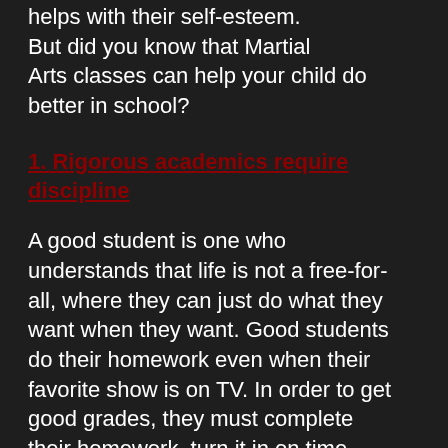helps with their self-esteem. But did you know that Martial Arts classes can help your child do better in school?
1. Rigorous academics require discipline
A good student is one who understands that life is not a free-for-all, where they can just do what they want when they want. Good students do their homework even when their favorite show is on TV. In order to get good grades, they must complete their homework, turn it in on time, and study and prepare for tests. The trait necessary for achieving all these is discipline. Martial Arts works to develop self-discipline because it helps students learn structure, order and most